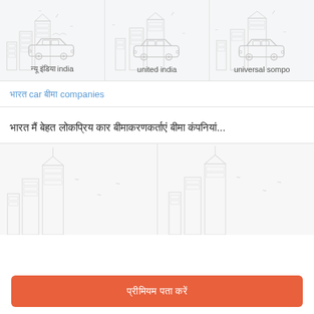[Figure (illustration): Three insurance company cards with car icons and city background watermarks: 'न्यू इंडिया india', 'united india', 'universal sompo']
भारत car बीमा companies
भारत मैं बेहत लोकप्रिय कार बीमा कंपनियां हैं जो...
[Figure (illustration): Two placeholder card cells with cityscape watermark background]
प्रीमियम पता करें